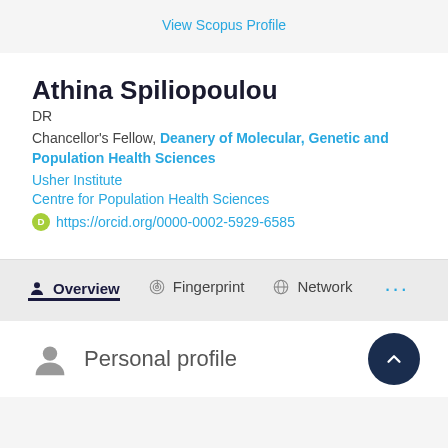View Scopus Profile
Athina Spiliopoulou
DR
Chancellor's Fellow, Deanery of Molecular, Genetic and Population Health Sciences
Usher Institute
Centre for Population Health Sciences
https://orcid.org/0000-0002-5929-6585
Overview
Fingerprint
Network
Personal profile